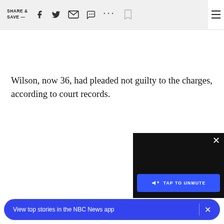SHARE & SAVE — [social share icons: facebook, twitter, email, message, more, bookmark, menu]
Wilson, now 36, had pleaded not guilty to the charges, according to court records.
[Figure (screenshot): Video player overlay showing TAP TO UNMUTE button in blue with speaker-muted icon, on dark background, with close X button]
[Figure (screenshot): Blue pill-shaped notification bar at bottom: 'View top stories in the NBC News app' with close X button]